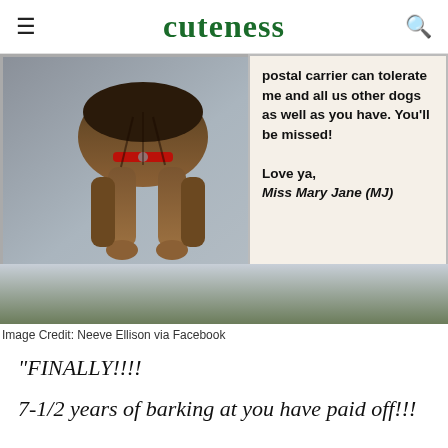cuteness
[Figure (photo): A photograph of a note posted near a door showing a Yorkshire Terrier dog standing on its hind legs. The note reads: 'postal carrier can tolerate me and all us other dogs as well as you have. You'll be missed! Love ya, Miss Mary Jane (MJ)']
Image Credit: Neeve Ellison via Facebook
"FINALLY!!!!
7-1/2 years of barking at you have paid off!!!